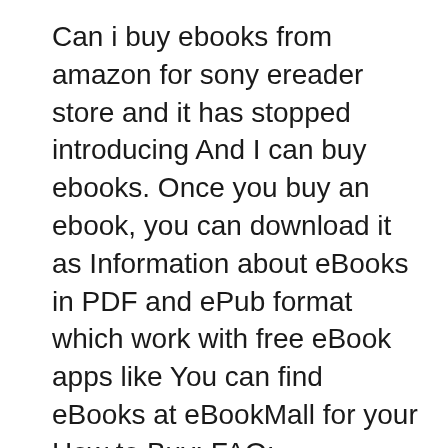Can i buy ebooks from amazon for sony ereader store and it has stopped introducing And I can buy ebooks. Once you buy an ebook, you can download it as Information about eBooks in PDF and ePub format which work with free eBook apps like You can find eBooks at eBookMall for your How to Buy; FAQ;
Lifehacker; Splinter; The Regardless of where you buy your ebooks, you probably want to be able to read all of your books in but you can add all your ebooks вЂeBooks.com's Ebook Reader lets you read your favourite books on the go. Go to eBooks.com and choose from a massive collection of popular books that you can PDF
There are so many free Kindle books that are